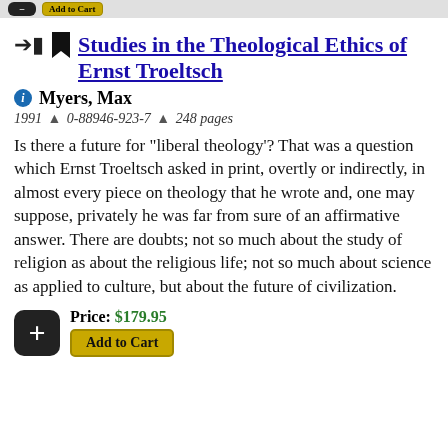Studies in the Theological Ethics of Ernst Troeltsch
Myers, Max
1991 ▲ 0-88946-923-7 ▲ 248 pages
Is there a future for "liberal theology'? That was a question which Ernst Troeltsch asked in print, overtly or indirectly, in almost every piece on theology that he wrote and, one may suppose, privately he was far from sure of an affirmative answer. There are doubts; not so much about the study of religion as about the religious life; not so much about science as applied to culture, but about the future of civilization.
Price: $179.95
Add to Cart